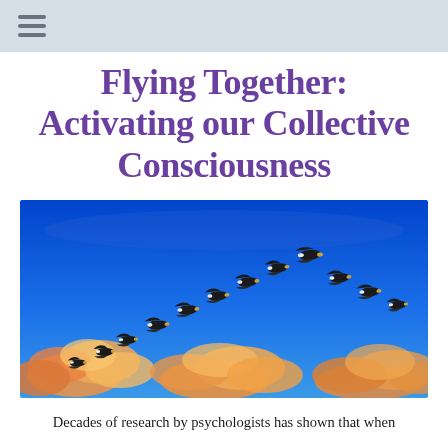≡
Flying Together: Activating our Collective Consciousness
[Figure (photo): A flock of Canada geese flying in V-formation against a vivid blue sky with warm orange and yellow clouds in the lower portion of the image.]
Decades of research by psychologists has shown that when